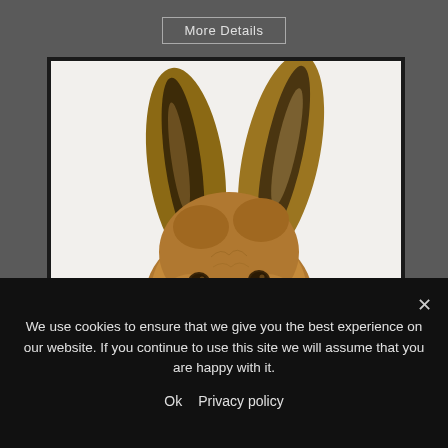More Details
[Figure (illustration): Close-up illustration of a hare's face and tall ears, rendered in colored pencil or watercolor. The hare's large brown and dark ears dominate the upper portion, with a golden-brown furry face, bright eyes, and whiskers visible at the bottom. White/light grey background.]
We use cookies to ensure that we give you the best experience on our website. If you continue to use this site we will assume that you are happy with it.
Ok   Privacy policy